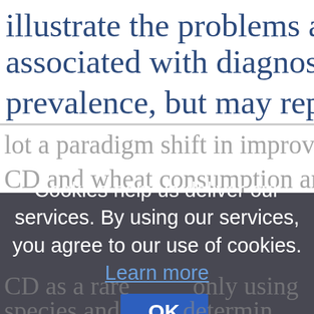illustrate the problems and issues associated with diagnosis and di prevalence, but may represent th
Cookies help us deliver our services. By using our services, you agree to our use of cookies. Learn more
OK